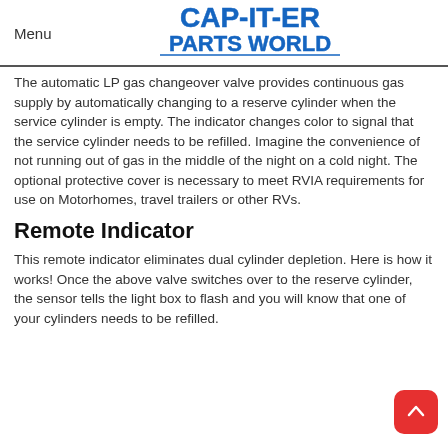Menu | CAP-IT-ER PARTS WORLD
The automatic LP gas changeover valve provides continuous gas supply by automatically changing to a reserve cylinder when the service cylinder is empty. The indicator changes color to signal that the service cylinder needs to be refilled. Imagine the convenience of not running out of gas in the middle of the night on a cold night. The optional protective cover is necessary to meet RVIA requirements for use on Motorhomes, travel trailers or other RVs.
Remote Indicator
This remote indicator eliminates dual cylinder depletion. Here is how it works! Once the above valve switches over to the reserve cylinder, the sensor tells the light box to flash and you will know that one of your cylinders needs to be refilled.